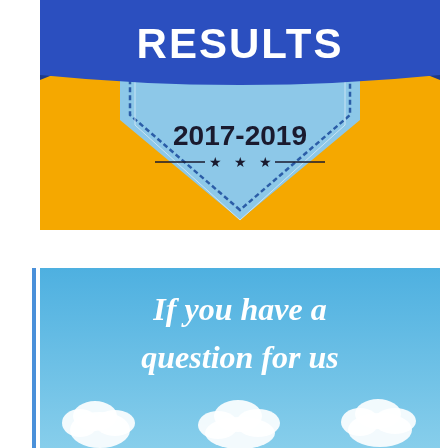[Figure (illustration): Badge/shield graphic with yellow/gold background. Dark navy blue banner at top reading 'RESULTS' in bold white text. Below the banner is a light blue shield shape containing the text '2017-2019' in bold dark text, three stars, and decorative dashes on either side of the stars.]
[Figure (illustration): Sky-blue background image with white handwritten-style text reading 'If you have a question for us'. At the bottom are white cloud shapes that appear to form letters (FAQ).]